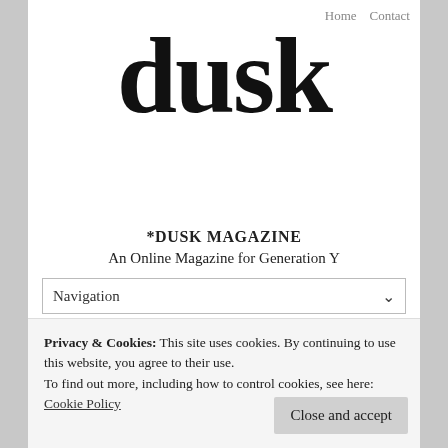Home   Contact
dusk
*DUSK MAGAZINE
An Online Magazine for Generation Y
Navigation
Hollywood and Mental Heal...
Privacy & Cookies: This site uses cookies. By continuing to use this website, you agree to their use.
To find out more, including how to control cookies, see here:
Cookie Policy
Close and accept